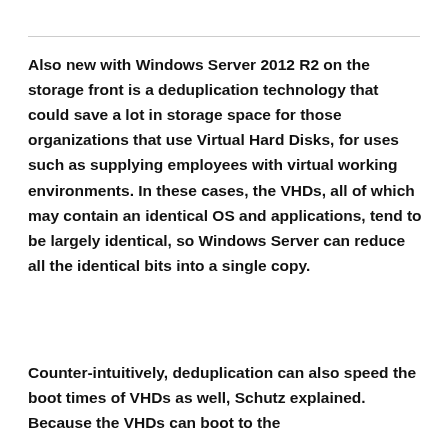Also new with Windows Server 2012 R2 on the storage front is a deduplication technology that could save a lot in storage space for those organizations that use Virtual Hard Disks, for uses such as supplying employees with virtual working environments. In these cases, the VHDs, all of which may contain an identical OS and applications, tend to be largely identical, so Windows Server can reduce all the identical bits into a single copy.
Counter-intuitively, deduplication can also speed the boot times of VHDs as well, Schutz explained. Because the VHDs can boot to the